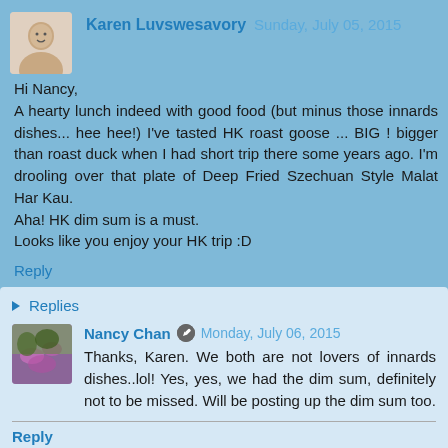Karen Luvswesavory  Sunday, July 05, 2015
Hi Nancy,
A hearty lunch indeed with good food (but minus those innards dishes... hee hee!) I've tasted HK roast goose ... BIG ! bigger than roast duck when I had short trip there some years ago. I'm drooling over that plate of Deep Fried Szechuan Style Malat Har Kau.
Aha! HK dim sum is a must.
Looks like you enjoy your HK trip :D
Reply
Replies
Nancy Chan  Monday, July 06, 2015
Thanks, Karen. We both are not lovers of innards dishes..lol! Yes, yes, we had the dim sum, definitely not to be missed. Will be posting up the dim sum too.
Reply